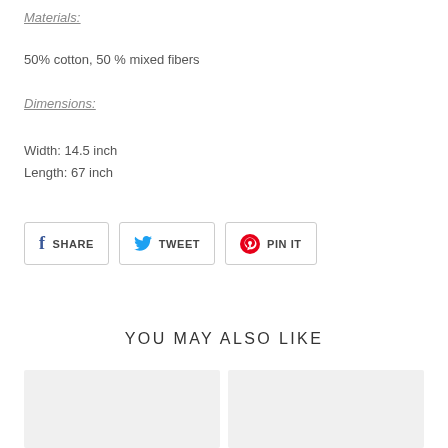Materials:
50% cotton, 50 % mixed fibers
Dimensions:
Width: 14.5 inch
Length: 67 inch
SHARE   TWEET   PIN IT
YOU MAY ALSO LIKE
[Figure (other): Two product thumbnail image placeholders side by side]